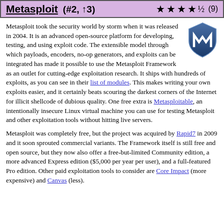Metasploit (#2, ↑3) ★★★★½ (9)
Metasploit took the security world by storm when it was released in 2004. It is an advanced open-source platform for developing, testing, and using exploit code. The extensible model through which payloads, encoders, no-op generators, and exploits can be integrated has made it possible to use the Metasploit Framework as an outlet for cutting-edge exploitation research. It ships with hundreds of exploits, as you can see in their list of modules. This makes writing your own exploits easier, and it certainly beats scouring the darkest corners of the Internet for illicit shellcode of dubious quality. One free extra is Metasploitable, an intentionally insecure Linux virtual machine you can use for testing Metasploit and other exploitation tools without hitting live servers.
Metasploit was completely free, but the project was acquired by Rapid7 in 2009 and it soon sprouted commercial variants. The Framework itself is still free and open source, but they now also offer a free-but-limited Community edition, a more advanced Express edition ($5,000 per year per user), and a full-featured Pro edition. Other paid exploitation tools to consider are Core Impact (more expensive) and Canvas (less).